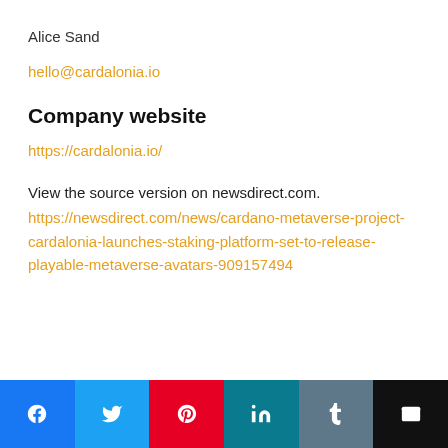Alice Sand
hello@cardalonia.io
Company website
https://cardalonia.io/
View the source version on newsdirect.com.
https://newsdirect.com/news/cardano-metaverse-project-cardalonia-launches-staking-platform-set-to-release-playable-metaverse-avatars-909157494